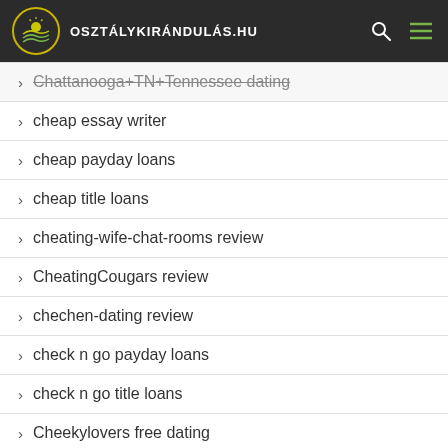osztálykirándulás.hu
Chattanooga+TN+Tennessee dating
cheap essay writer
cheap payday loans
cheap title loans
cheating-wife-chat-rooms review
CheatingCougars review
chechen-dating review
check n go payday loans
check n go title loans
Cheekylovers free dating
Cheekylovers review